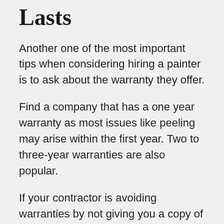Lasts
Another one of the most important tips when considering hiring a painter is to ask about the warranty they offer.
Find a company that has a one year warranty as most issues like peeling may arise within the first year. Two to three-year warranties are also popular.
If your contractor is avoiding warranties by not giving you a copy of the conditions, that's a red flag.
Before signing a contract, make sure you carefully review contract details in...